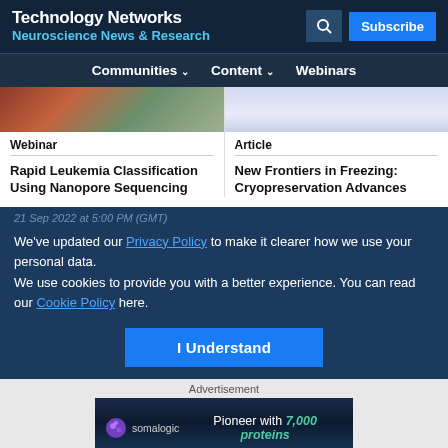Technology Networks
Neuroscience News & Research
Communities | Content | Webinars
[Figure (photo): Two article thumbnail images side by side: left shows biological/cellular imagery in red-brown tones, right shows a light blue/purple abstract image]
Webinar
Rapid Leukemia Classification Using Nanopore Sequencing
Article
New Frontiers in Freezing: Cryopreservation Advances
21 Sep 2022 at 5:00 PM (GMT)
We've updated our Privacy Policy to make it clearer how we use your personal data.
We use cookies to provide you with a better experience. You can read our Cookie Policy here.
I Understand
Advertisement
[Figure (infographic): Somalogic advertisement banner with logo and text: Pioneer with 7,000 proteins]